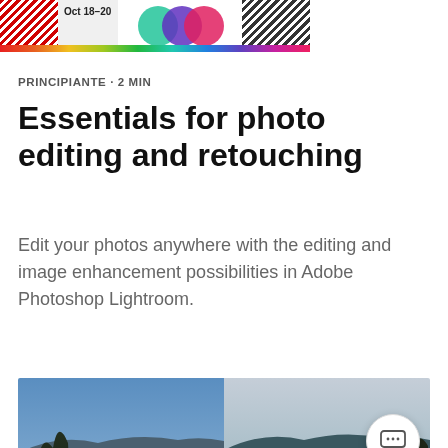[Figure (screenshot): Adobe event banner header showing 'Oct 18-20' with hatched patterns, gradient circles, and a rainbow stripe at the bottom]
PRINCIPIANTE · 2 MIN
Essentials for photo editing and retouching
Edit your photos anywhere with the editing and image enhancement possibilities in Adobe Photoshop Lightroom.
[Figure (photo): Split before/after photo comparison of a mountain lake landscape (Emerald Bay, Lake Tahoe). Left half shows original cooler tones, right half shows edited warmer/teal tones with a chat button overlay.]